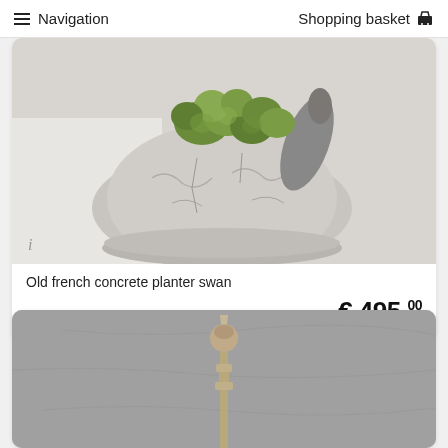≡ Navigation    Shopping basket 🛒
[Figure (photo): Close-up photo of an old French concrete planter shaped like a swan, filled with green leafy plants, placed on a light-colored surface.]
Old french concrete planter swan
€ 495,00
[Figure (photo): Photo of a wooden decorative finial or newel post against a grey concrete wall background.]